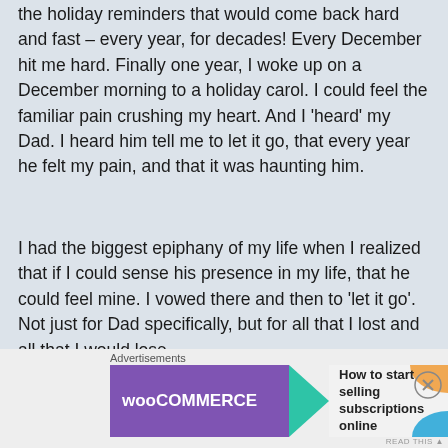the holiday reminders that would come back hard and fast – every year, for decades! Every December hit me hard. Finally one year, I woke up on a December morning to a holiday carol. I could feel the familiar pain crushing my heart. And I 'heard' my Dad. I heard him tell me to let it go, that every year he felt my pain, and that it was haunting him.
I had the biggest epiphany of my life when I realized that if I could sense his presence in my life, that he could feel mine. I vowed there and then to 'let it go'. Not just for Dad specifically, but for all that I lost and all that I would lose.
Grief is natural, but going forward I will never allow grief to consume me again. What's more, I know that
[Figure (other): WooCommerce advertisement banner with text 'How to start selling subscriptions online']